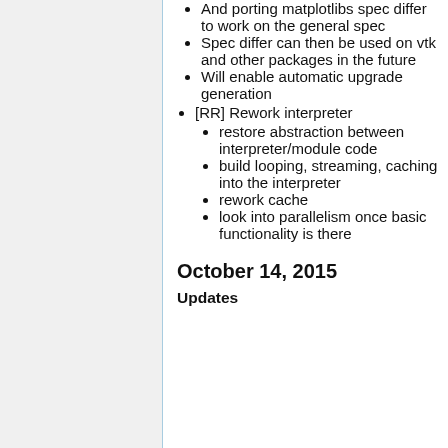And porting matplotlibs spec differ to work on the general spec
Spec differ can then be used on vtk and other packages in the future
Will enable automatic upgrade generation
[RR] Rework interpreter
restore abstraction between interpreter/module code
build looping, streaming, caching into the interpreter
rework cache
look into parallelism once basic functionality is there
October 14, 2015
Updates